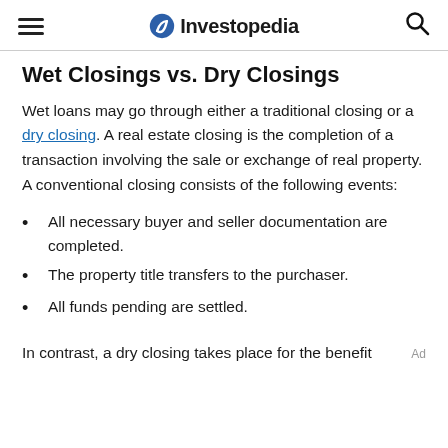Investopedia
Wet Closings vs. Dry Closings
Wet loans may go through either a traditional closing or a dry closing. A real estate closing is the completion of a transaction involving the sale or exchange of real property. A conventional closing consists of the following events:
All necessary buyer and seller documentation are completed.
The property title transfers to the purchaser.
All funds pending are settled.
In contrast, a dry closing takes place for the benefit